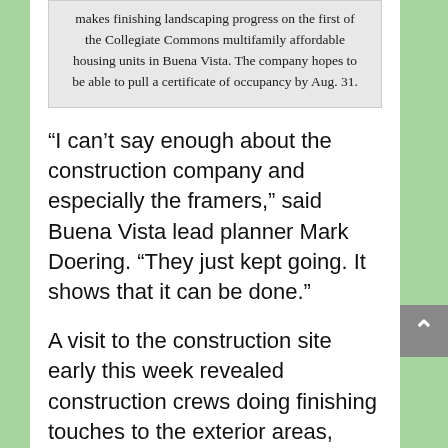makes finishing landscaping progress on the first of the Collegiate Commons multifamily affordable housing units in Buena Vista. The company hopes to be able to pull a certificate of occupancy by Aug. 31.
“I can’t say enough about the construction company and especially the framers,” said Buena Vista lead planner Mark Doering. “They just kept going. It shows that it can be done.”
A visit to the construction site early this week revealed construction crews doing finishing touches to the exterior areas, including landscaping.
“We’re putting in the grass and trees